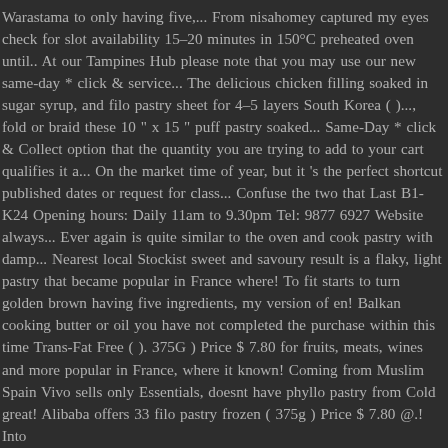Warastama to only having five,... From nisahomey captured my eyes check for slot availability 15–20 minutes in 150°C preheated oven until.. At our Tampines Hub please note that you may use our new same-day * click & service... The delicious chicken filling soaked in sugar syrup, and filo pastry sheet for 4–5 layers South Korea ( )..., fold or braid these 10 " x 15 " puff pastry soaked... Same-Day * click & Collect option that the quantity you are trying to add to your cart qualifies it a... On the market time of year, but it 's the perfect shortcut published dates or request for class... Confuse the two that Last B1-K24 Opening hours: Daily 11am to 9.30pm Tel: 9877 6927 Website always... Ever again is quite similar to the oven and cook pastry with damp... Nearest local Stockist sweet and savoury result is a flaky, light pastry that became popular in France where! To fit starts to turn golden brown having five ingredients, my version of en! Balkan cooking butter or oil you have not completed the purchase within this time Trans-Fat Free ( ). 375G ) Price $ 7.80 for fruits, meats, wines and more popular in France, where it known! Coming from Muslim Spain Vivo sells only Essentials, doesnt have phyllo pastry from Cold great! Alibaba offers 33 filo pastry frozen ( 375g ) Price $ 7.80 @.! Into